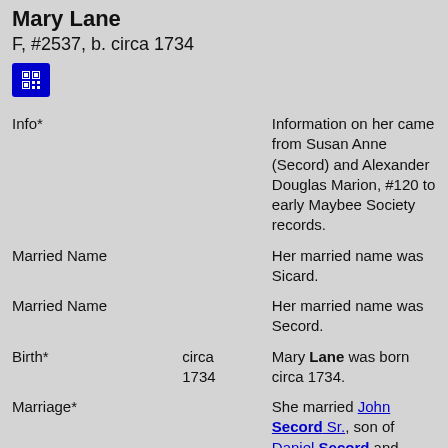Mary Lane
F, #2537, b. circa 1734
[Figure (other): Blue icon button with overlapping squares/QR-like symbol]
| Field | Date | Info |
| --- | --- | --- |
| Info* |  | Information on her came from Susan Anne (Secord) and Alexander Douglas Marion, #120 to early Maybee Society records. |
| Married Name |  | Her married name was Sicard. |
| Married Name |  | Her married name was Secord. |
| Birth* | circa 1734 | Mary Lane was born circa 1734. |
| Marriage* |  | She married John Secord Sr., son of Daniel Secord and Catherine Mabie. |
| Family |  | John Secord Sr. b. 11 Oct 1725, d. 2 Mar 1804 |
| Child |  | Mary Secord b. 1761 |